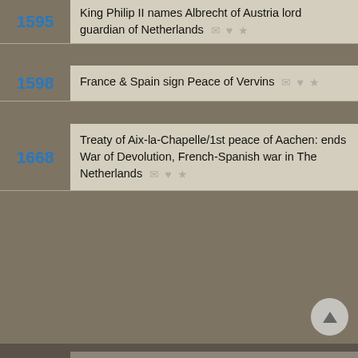1595 — King Philip II names Albrecht of Austria lord guardian of Netherlands
1598 — France & Spain sign Peace of Vervins
1668 — Treaty of Aix-la-Chapelle/1st peace of Aachen: ends War of Devolution, French-Spanish war in The Netherlands
We use cookies to understand how you use our site and to improve your experience. This includes personalizing content for you and for the display and tracking of advertising. By continuing to use our site, you accept and agree to our use of cookies.  Privacy Policy
1749 — reform"